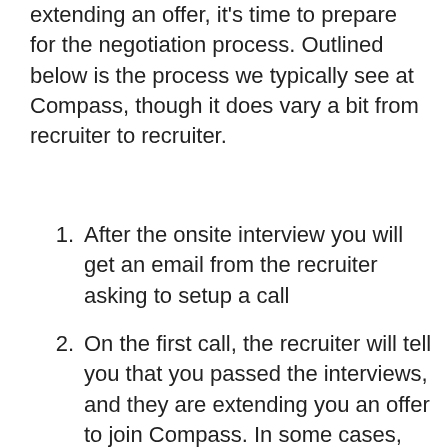extending an offer, it's time to prepare for the negotiation process. Outlined below is the process we typically see at Compass, though it does vary a bit from recruiter to recruiter.
After the onsite interview you will get an email from the recruiter asking to setup a call
On the first call, the recruiter will tell you that you passed the interviews, and they are extending you an offer to join Compass. In some cases, they will share the initial offer, but it's more common for the recruiter to ask you for your compensation expectations. We would recommend pushing back with something along the lines of "I'm still figuring out my market value. I'd appreciate it if you go